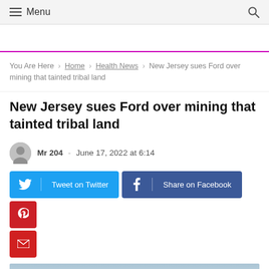≡ Menu  🔍
You Are Here > Home > Health News > New Jersey sues Ford over mining that tainted tribal land
New Jersey sues Ford over mining that tainted tribal land
Mr 204 · June 17, 2022 at 6:14
Tweet on Twitter | Share on Facebook | Pinterest | Email
[Figure (photo): Sky/cloud background photo at bottom of page]